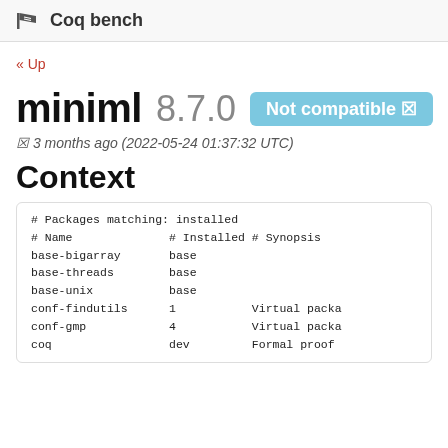🏁 Coq bench
« Up
miniml 8.7.0 Not compatible ✗
✗ 3 months ago (2022-05-24 01:37:32 UTC)
Context
| # Name | # Installed | # Synopsis |
| --- | --- | --- |
| base-bigarray | base |  |
| base-threads | base |  |
| base-unix | base |  |
| conf-findutils | 1 | Virtual packa |
| conf-gmp | 4 | Virtual packa |
| coq | dev | Formal proof |